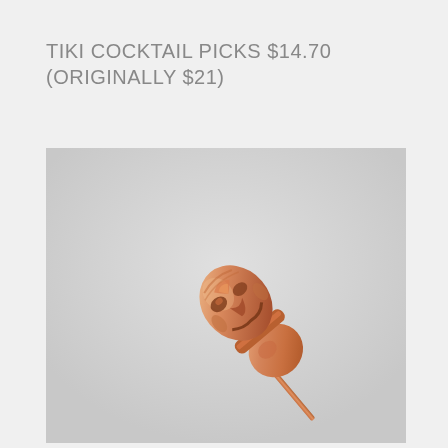TIKI COCKTAIL PICKS $14.70 (ORIGINALLY $21)
[Figure (photo): Close-up photo of a rose gold / copper-toned tiki face cocktail pick on a light gray background. The tiki head is a small metallic figurine with carved facial features, shown at a diagonal angle with the pointed pick stem extending to the lower right.]